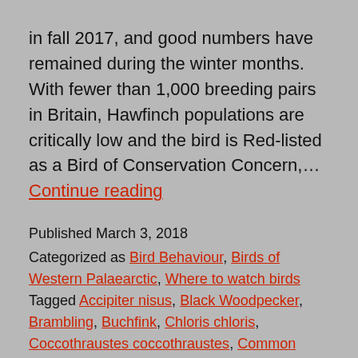in fall 2017, and good numbers have remained during the winter months. With fewer than 1,000 breeding pairs in Britain, Hawfinch populations are critically low and the bird is Red-listed as a Bird of Conservation Concern,… Continue reading
Published March 3, 2018
Categorized as Bird Behaviour, Birds of Western Palaearctic, Where to watch birds
Tagged Accipiter nisus, Black Woodpecker, Brambling, Buchfink, Chloris chloris, Coccothraustes coccothraustes, Common Chaffinch, Cyanistes caeruleus, Dendrocopos syriacus, Dryocopus martius, Eurasian Blue Tit, Eurasian Bullfinch, Eurasian Nuthatch, Eurasian Siskin, Eurasian...